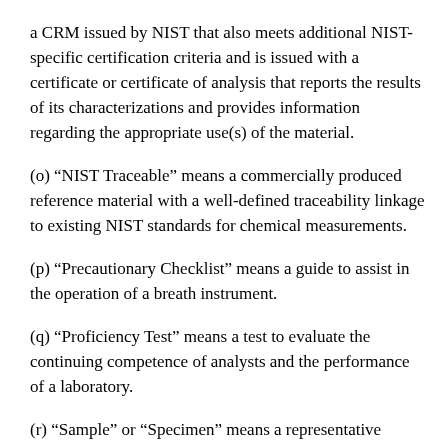a CRM issued by NIST that also meets additional NIST-specific certification criteria and is issued with a certificate or certificate of analysis that reports the results of its characterizations and provides information regarding the appropriate use(s) of the material.
(o) “NIST Traceable” means a commercially produced reference material with a well-defined traceability linkage to existing NIST standards for chemical measurements.
(p) “Precautionary Checklist” means a guide to assist in the operation of a breath instrument.
(q) “Proficiency Test” means a test to evaluate the continuing competence of analysts and the performance of a laboratory.
(r) “Sample” or “Specimen” means a representative